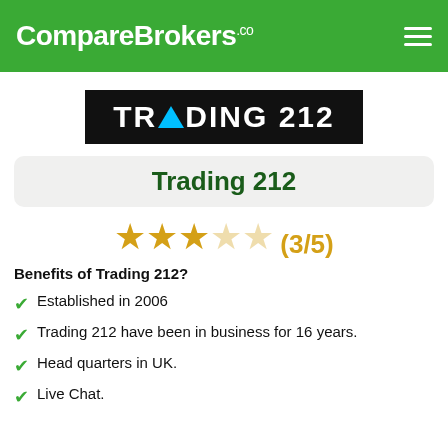CompareBrokers.co
[Figure (logo): Trading 212 logo: white bold text on black background with a blue upward arrow replacing the letter A]
Trading 212
★★★☆☆ (3/5)
Benefits of Trading 212?
Established in 2006
Trading 212 have been in business for 16 years.
Head quarters in UK.
Live Chat.